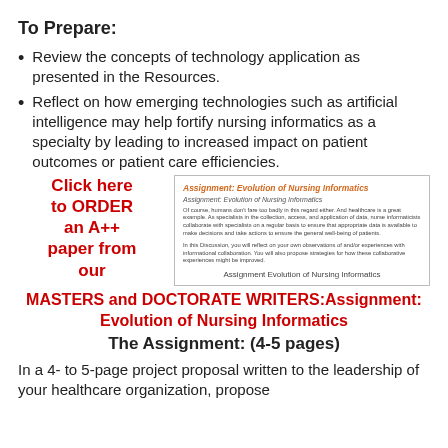To Prepare:
Review the concepts of technology application as presented in the Resources.
Reflect on how emerging technologies such as artificial intelligence may help fortify nursing informatics as a specialty by leading to increased impact on patient outcomes or patient care efficiencies.
Click here to ORDER an A++ paper from our MASTERS and DOCTORATE WRITERS:Assignment: Evolution of Nursing Informatics
[Figure (screenshot): Screenshot of 'Assignment: Evolution of Nursing Informatics' document page with orange title, body text, and caption 'Assignment Evolution of Nursing Informatics']
The Assignment: (4-5 pages)
In a 4- to 5-page project proposal written to the leadership of your healthcare organization, propose